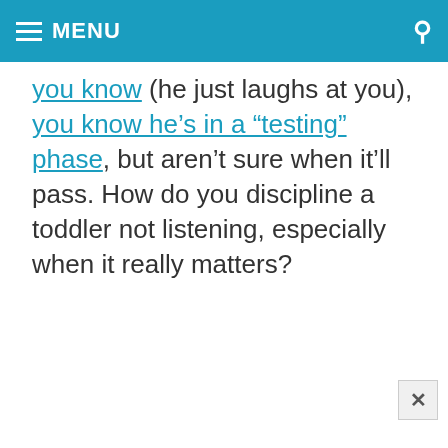MENU
you know (he just laughs at you), you know he’s in a “testing” phase, but aren’t sure when it’ll pass. How do you discipline a toddler not listening, especially when it really matters?